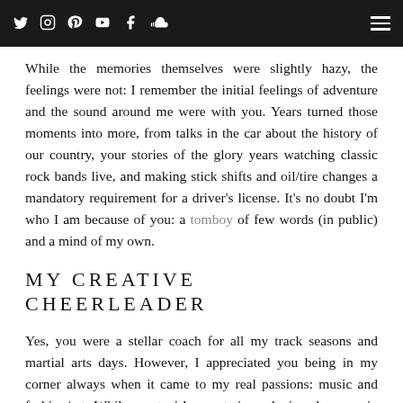[Navigation bar with social icons: Twitter, Instagram, Pinterest, YouTube, Facebook, SoundCloud, and hamburger menu]
While the memories themselves were slightly hazy, the feelings were not: I remember the initial feelings of adventure and the sound around me were with you. Years turned those moments into more, from talks in the car about the history of our country, your stories of the glory years watching classic rock bands live, and making stick shifts and oil/tire changes a mandatory requirement for a driver's license. It's no doubt I'm who I am because of you: a tomboy of few words (in public) and a mind of my own.
MY CREATIVE CHEERLEADER
Yes, you were a stellar coach for all my track seasons and martial arts days. However, I appreciated you being in my corner always when it came to my real passions: music and fashion/art. While most girls spent time playing dress up in their mother's wardrobe, borrowing your concert tees and records were more my speed. I also felt like your creativity went unnoticed: my painting skills and ability to build things definitely came from you. Just like you'd spend time carving in your workshop making cool things for us or our house, I'd spend hours sketching everything from clothing to buildings. Thank you for encouraging me to pursue modeling while still in high school after